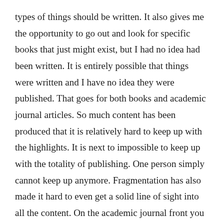types of things should be written. It also gives me the opportunity to go out and look for specific books that just might exist, but I had no idea had been written. It is entirely possible that things were written and I have no idea they were published. That goes for both books and academic journal articles. So much content has been produced that it is relatively hard to keep up with the highlights. It is next to impossible to keep up with the totality of publishing. One person simply cannot keep up anymore. Fragmentation has also made it hard to even get a solid line of sight into all the content. On the academic journal front you have to have access to the right digital libraries to see the bulk of it and it is almost all hidden behind subscriptions.
After next week I'm trying to figure out how to allocate